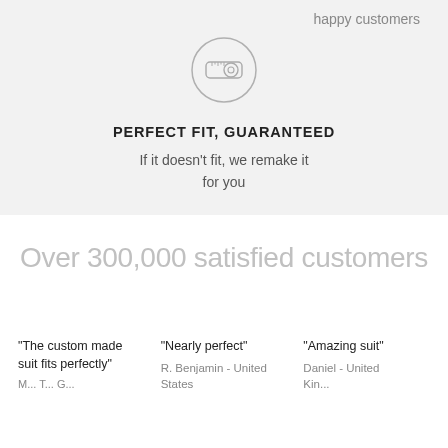happy customers
[Figure (illustration): Circular icon with a measuring tape graphic, light gray outline circle]
PERFECT FIT, GUARANTEED
If it doesn't fit, we remake it for you
Over 300,000 satisfied customers
"The custom made suit fits perfectly"
"Nearly perfect"
R. Benjamin - United States
"Amazing suit"
Daniel - United Kingdom